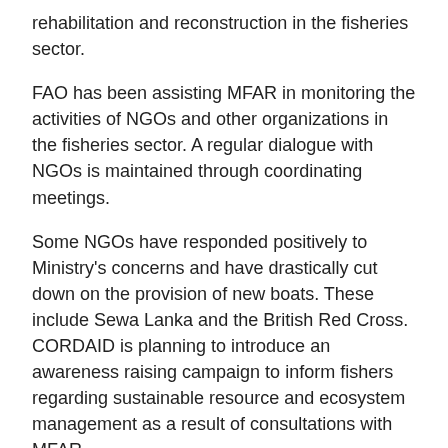rehabilitation and reconstruction in the fisheries sector.
FAO has been assisting MFAR in monitoring the activities of NGOs and other organizations in the fisheries sector. A regular dialogue with NGOs is maintained through coordinating meetings.
Some NGOs have responded positively to Ministry's concerns and have drastically cut down on the provision of new boats. These include Sewa Lanka and the British Red Cross. CORDAID is planning to introduce an awareness raising campaign to inform fishers regarding sustainable resource and ecosystem management as a result of consultations with MFAR.
"The fleet size was already unsustainably large before the tsunami" said Mr. G. Piyasena, Director General of the Dept. of Fisheries and Aquatic Resources. If the pledges by various NGOs and donors are completely fulfilled, there